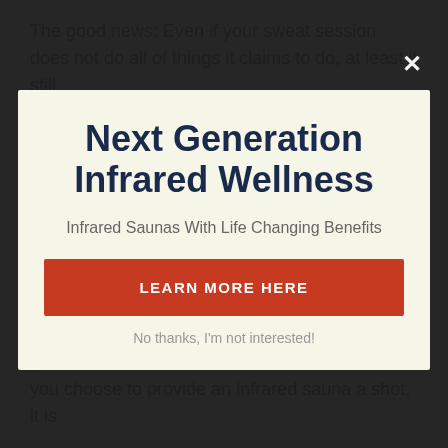The good news: Even if your sweat session does not do all of things it claims to do, at least it still
Next Generation Infrared Wellness
Infrared Saunas With Life Changing Benefits
LEARN MORE HERE
No thanks, I'm not interested!
treatments at a gym, health spa, or medical professional's office, some others will certainly purchase and construct one in their house. If you choose to provide an infrared sauna a shot, it is